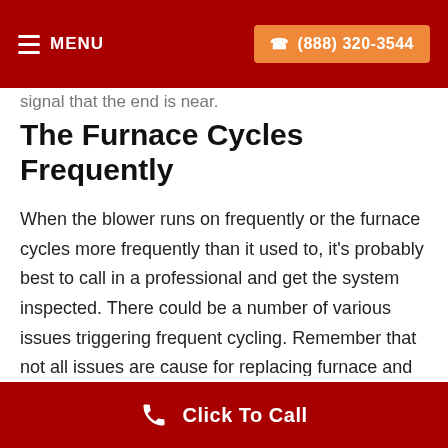MENU | (888) 320-3544
signal that the end is near.
The Furnace Cycles Frequently
When the blower runs on frequently or the furnace cycles more frequently than it used to, it's probably best to call in a professional and get the system inspected. There could be a number of various issues triggering frequent cycling. Remember that not all issues are cause for replacing furnace and some could even be solved with replacement parts. Either way, be wary of
Click To Call